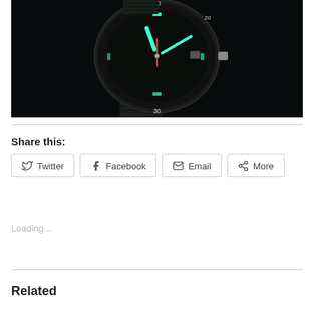[Figure (photo): Close-up photo of a diver's watch with green luminescent hands and markers on a black dial, with a black nylon NATO strap, against a dark background.]
Share this:
Twitter  Facebook  Email  More
Loading...
Related